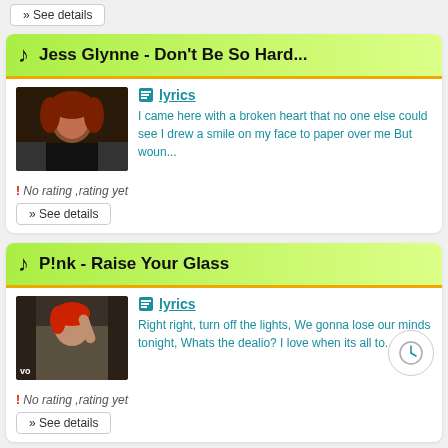» See details
Jess Glynne - Don't Be So Hard...
[Figure (photo): Thumbnail image of Jess Glynne music video]
lyrics
I came here with a broken heart that no one else could see I drew a smile on my face to paper over me But woun...
! No rating ,rating yet
» See details
P!nk - Raise Your Glass
[Figure (photo): Thumbnail image of P!nk Raise Your Glass music video with 'vo' label]
lyrics
Right right, turn off the lights, We gonna lose our minds tonight, Whats the dealio? I love when its all to...
! No rating ,rating yet
» See details